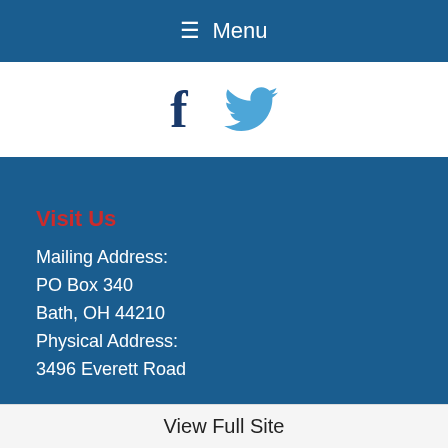Menu
[Figure (illustration): Social media icons: Facebook (f) and Twitter bird icon]
Visit Us
Mailing Address:
PO Box 340
Bath, OH 44210
Physical Address:
3496 Everett Road
View Full Site